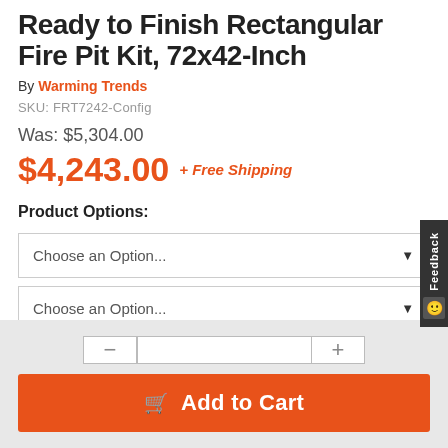Ready to Finish Rectangular Fire Pit Kit, 72x42-Inch
By Warming Trends
SKU: FRT7242-Config
Was: $5,304.00
$4,243.00 + Free Shipping
Product Options:
Choose an Option...
Choose an Option...
Add to Cart